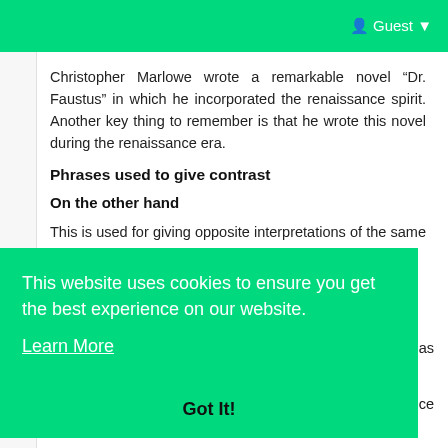Guest
Christopher Marlowe wrote a remarkable novel “Dr. Faustus” in which he incorporated the renaissance spirit. Another key thing to remember is that he wrote this novel during the renaissance era.
Phrases used to give contrast
On the other hand
This is used for giving opposite interpretations of the same topic.
This website uses cookies to ensure you get the best experience on our website.
Learn More
Got It!
d as
uce an opposing idea in the same sentence.